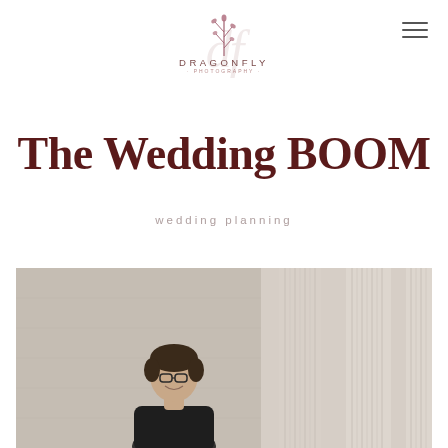[Figure (logo): Dragonfly Photography logo: a stylized botanical/dragonfly plant illustration above the text 'DRAGONFLY' in spaced caps and 'PHOTOGRAPHY' in smaller spaced caps, with a cursive decorative watermark behind]
[Figure (other): Hamburger menu icon (three horizontal lines) in upper right corner]
The Wedding BOOM
wedding planning
[Figure (photo): Photograph of a person smiling, standing in front of large classical stone columns, outdoors with a stone wall background. The photo is cropped to show the upper portion of the person and the architectural columns.]